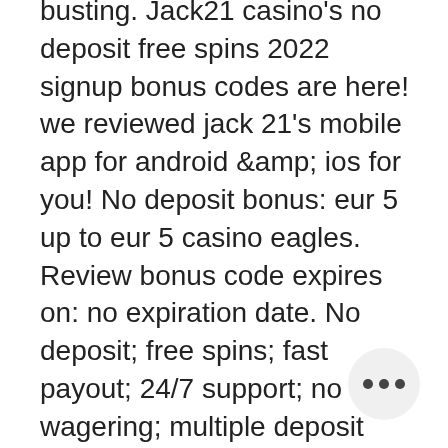busting. Jack21 casino's no deposit free spins 2022 signup bonus codes are here! we reviewed jack 21's mobile app for android &amp; ios for you! No deposit bonus: eur 5 up to eur 5 casino eagles. Review bonus code expires on: no expiration date. No deposit; free spins; fast payout; 24/7 support; no wagering; multiple deposit bonus; no registration; high withdraw limits; low withdraw. Chinese new year slots machines. The tiger acts as the wild symbol and can pay up to 5000 coins whil. The minimum deposit is 10 euros; no deposits via skrill or neteller allowed; bonus must be wagered 35 times; slots are counted at 100%. A maximum of 1 euro may. We have the best 21casino no deposit bonus for you. Join 21 casino via our website and you receive 50 free spins on nar slot. Complaints against 21 casino, th include payout, withdrawal, deposit,